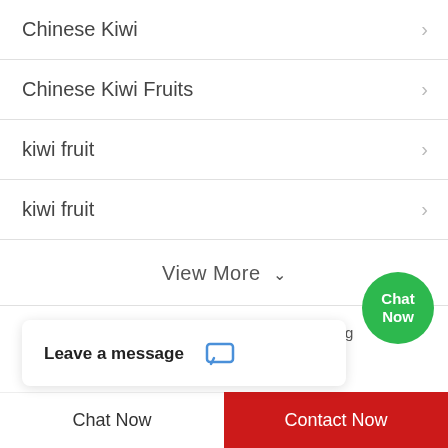Chinese Kiwi
Chinese Kiwi Fruits
kiwi fruit
kiwi fruit
View More ∨
Home | Products | PC Sites | Blog | Hot Words | September,2022 | 16
Leave a message
Chat Now
Contact Now